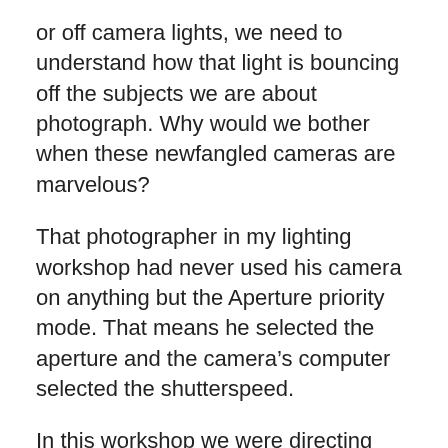or off camera lights, we need to understand how that light is bouncing off the subjects we are about photograph. Why would we bother when these newfangled cameras are marvelous?
That photographer in my lighting workshop had never used his camera on anything but the Aperture priority mode. That means he selected the aperture and the camera's computer selected the shutterspeed.
In this workshop we were directing one flash to brighten the background, one to create a highlight on the subject's cheek, and another high to the front as main illumination. Each of those lights had different intensity, and it's the meter (consider it a tool) in the camera that we use to easily tell us what each individual exposure is so we can control the image.